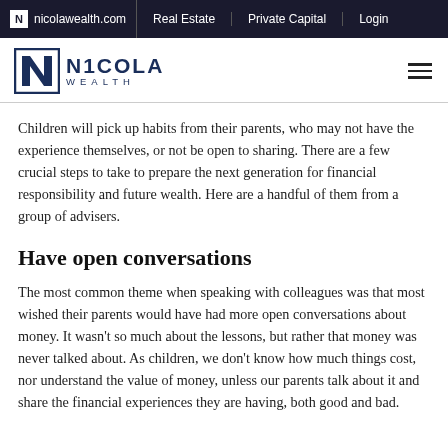nicolawealth.com | Real Estate | Private Capital | Login
[Figure (logo): Nicola Wealth logo with stylized N icon and wordmark 'NICOLA WEALTH']
Children will pick up habits from their parents, who may not have the experience themselves, or not be open to sharing. There are a few crucial steps to take to prepare the next generation for financial responsibility and future wealth. Here are a handful of them from a group of advisers.
Have open conversations
The most common theme when speaking with colleagues was that most wished their parents would have had more open conversations about money. It wasn't so much about the lessons, but rather that money was never talked about. As children, we don't know how much things cost, nor understand the value of money, unless our parents talk about it and share the financial experiences they are having, both good and bad.